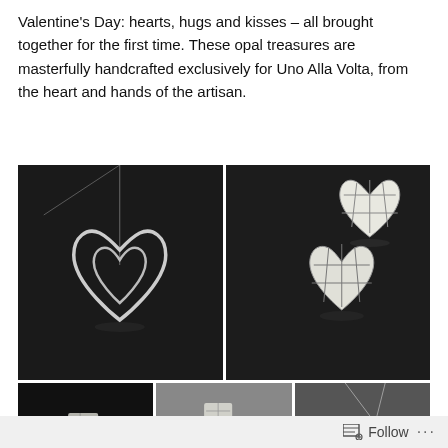Valentine's Day: hearts, hugs and kisses – all brought together for the first time. These opal treasures are masterfully handcrafted exclusively for Uno Alla Volta, from the heart and hands of the artisan.
[Figure (photo): Silver heart-shaped pendant on a delicate chain, against a dark background]
[Figure (photo): Two opal mosaic heart-shaped earrings/pendants against a dark background]
[Figure (photo): Bottom-left partial jewelry photo on dark background]
[Figure (photo): Bottom-center partial jewelry photo on gray background]
[Figure (photo): Bottom-right partial jewelry necklace photo on gray background]